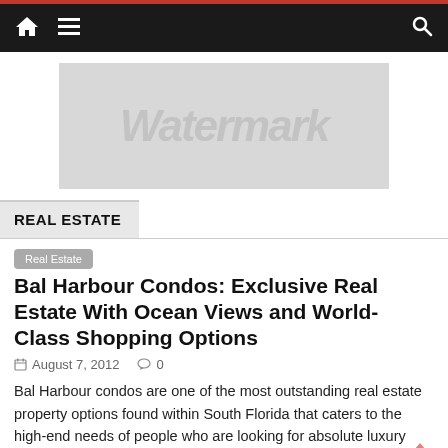Navigation bar with home icon, menu icon, and search icon
[Figure (photo): Banner image placeholder — light gray rectangle with watermark text]
REAL ESTATE
Real Estate
Bal Harbour Condos: Exclusive Real Estate With Ocean Views and World-Class Shopping Options
August 7, 2012   0
Bal Harbour condos are one of the most outstanding real estate property options found within South Florida that caters to the high-end needs of people who are looking for absolute luxury within a truly sensational oceanfront setting.